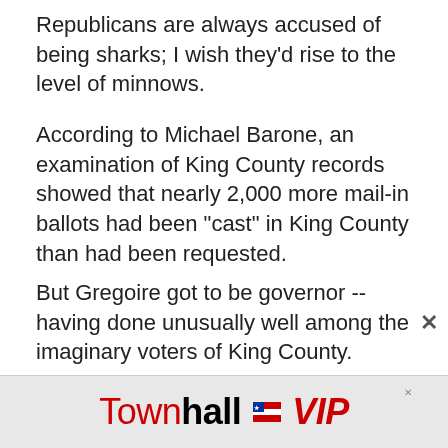Republicans are always accused of being sharks; I wish they'd rise to the level of minnows.
According to Michael Barone, an examination of King County records showed that nearly 2,000 more mail-in ballots had been "cast" in King County than had been requested.
But Gregoire got to be governor -- having done unusually well among the imaginary voters of King County.
The head of the Washington State Democratic Party orchestrating this ballot theft was Paul Berendt. Guess who is advising Al Franken on the Minnesota recount right now? That's right: Paul Berendt.
[Figure (logo): TownhallVIP advertisement banner with red and black text on gray background]